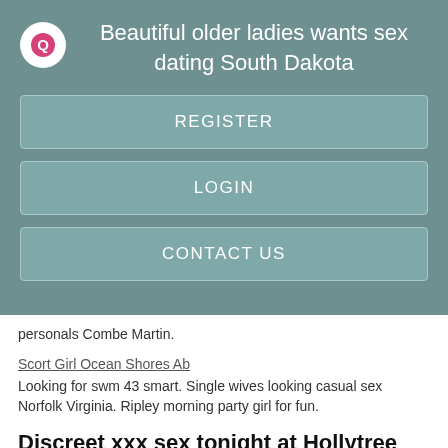Beautiful older ladies wants sex dating South Dakota
REGISTER
LOGIN
CONTACT US
personals Combe Martin.
Scort Girl Ocean Shores Ab
Looking for swm 43 smart. Single wives looking casual sex Norfolk Virginia. Ripley morning party girl for fun.
Discreet xxx sex tonight at Hollytree Alabama